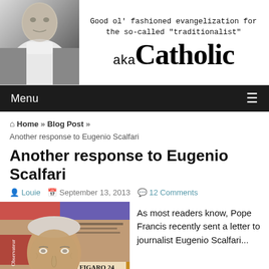[Figure (logo): akaCatholic blog header with photo of pope/clergy figure on left and blog title text on right. Tagline reads: Good ol' fashioned evangelization for the so-called "traditionalist". Title reads: aka Catholic]
Menu
⌂ Home » Blog Post » Another response to Eugenio Scalfari
Another response to Eugenio Scalfari
Louie   September 13, 2013   12 Comments
[Figure (photo): Photo of Eugenio Scalfari, an elderly man, against a backdrop of newspaper front pages including Le Figaro and other publications]
As most readers know, Pope Francis recently sent a letter to journalist Eugenio Scalfari...